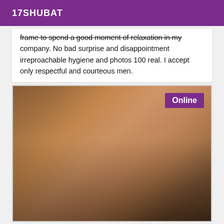17SHUBAT
frame to spend a good moment of relaxation in my company. No bad surprise and disappointment irreproachable hygiene and photos 100 real. I accept only respectful and courteous men.
[Figure (photo): Shirtless young man in an indoor setting, wearing jeans, with warm ambient lighting. An 'Online' badge appears in the top-right corner of the image.]